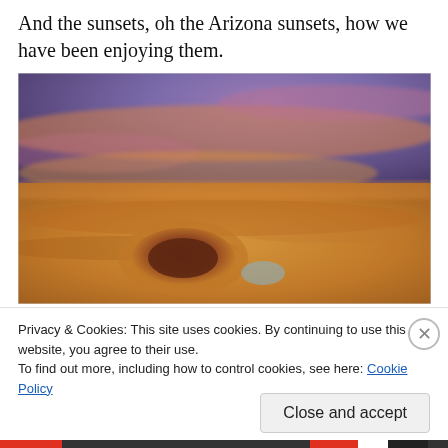And the sunsets, oh the Arizona sunsets, how we have been enjoying them.
[Figure (photo): Aerial or reflected photograph of an Arizona sunset showing an oval crater-like formation in a sandy landscape with dramatic purple and orange cloudy sky.]
Privacy & Cookies: This site uses cookies. By continuing to use this website, you agree to their use.
To find out more, including how to control cookies, see here: Cookie Policy